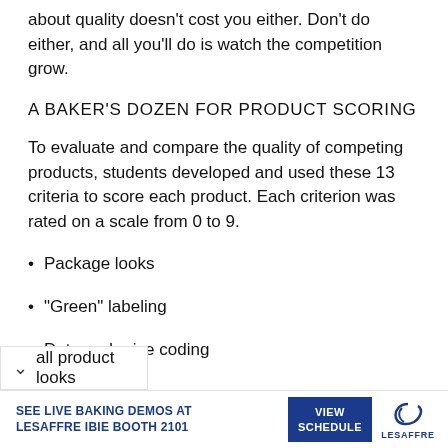about quality doesn't cost you either. Don't do either, and all you'll do is watch the competition grow.
A BAKER'S DOZEN FOR PRODUCT SCORING
To evaluate and compare the quality of competing products, students developed and used these 13 criteria to score each product. Each criterion was rated on a scale from 0 to 9.
Package looks
"Green" labeling
Date and price coding
all product looks
SEE LIVE BAKING DEMOS AT LESAFFRE IBIE BOOTH 2101   VIEW SCHEDULE   LESAFFRE